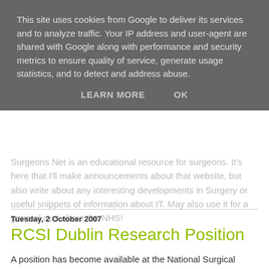This site uses cookies from Google to deliver its services and to analyze traffic. Your IP address and user-agent are shared with Google along with performance and security metrics to ensure quality of service, generate usage statistics, and to detect and address abuse.
LEARN MORE   OK
Surgeons Net is an educational resource for surgeons. It's here that I'll make announcements about that website, but also write about any interesting developments in Surgery or useful snippets of information about IT. May also use it for a general rant about the NHS!
Tuesday, 2 October 2007
RCSI Dublin Research Position
A position has become available at the National Surgical Training Centre, RCSI, Dublin for a research fellow. Broadly speaking, the research project is about the application of virtual reality simulation to surgical training.